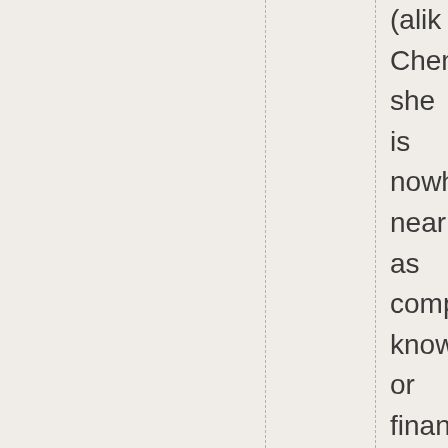(alike Chen she is nowh near as comp know or finan conn In othe word anoth